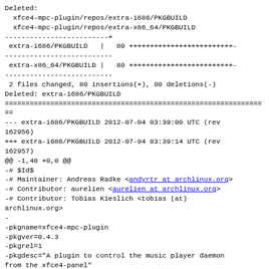Deleted:
  xfce4-mpc-plugin/repos/extra-i686/PKGBUILD
  xfce4-mpc-plugin/repos/extra-x86_64/PKGBUILD
-------------------------+
 extra-i686/PKGBUILD   |   80 +++++++++++++++++++++++++-
--------------------------
 extra-x86_64/PKGBUILD |   80 +++++++++++++++++++++++++-
--------------------------
 2 files changed, 80 insertions(+), 80 deletions(-)
Deleted: extra-i686/PKGBUILD
================================================================
--- extra-i686/PKGBUILD 2012-07-04 03:39:00 UTC (rev
162956)
+++ extra-i686/PKGBUILD 2012-07-04 03:39:14 UTC (rev
162957)
@@ -1,40 +0,0 @@
-# $Id$
-# Maintainer: Andreas Radke <andyrtr at archlinux.org>
-# Contributor: aurelien <aurelien at archlinux.org>
-# Contributor: Tobias Kieslich <tobias (at)
archlinux.org>
-
-pkgname=xfce4-mpc-plugin
-pkgver=0.4.3
-pkgrel=1
-pkgdesc="A plugin to control the music player daemon
from the xfce4-panel"
-arch=('i686' 'x86_64')
-url "http://goodies.xfce.org/projects/panel